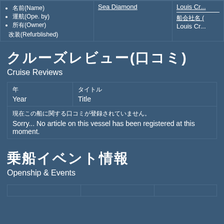| 名称など | Sea Diamond | Louis Cr... |
| --- | --- | --- |
| • 名前(Name)
• 運航(Ope. by)
• 所有(Owner)
改装(Refurblished) | Sea Diamond | Louis Cr...
船会社名 (
...
Louis Cr... |
クルーズレビュー(口コミ)
Cruise Reviews
| 年
Year | タイトル
Title |
| --- | --- |
| 現在この船に関する口コミが登録されていません。
Sorry... No article on this vessel has been registered at this moment. |  |
乗船イベント情報
Openship & Events